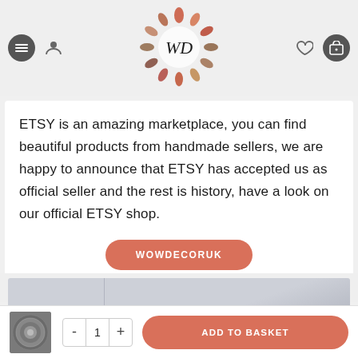[Figure (logo): WD logo with floral wreath design at top center of page header]
ETSY is an amazing marketplace, you can find beautiful products from handmade sellers, we are happy to announce that ETSY has accepted us as official seller and the rest is history, have a look on our official ETSY shop.
WOWDECORUK
[Figure (photo): Product photo showing decorative item, partially visible]
[Figure (photo): Thumbnail of product (metallic circular decorative item)]
ADD TO BASKET